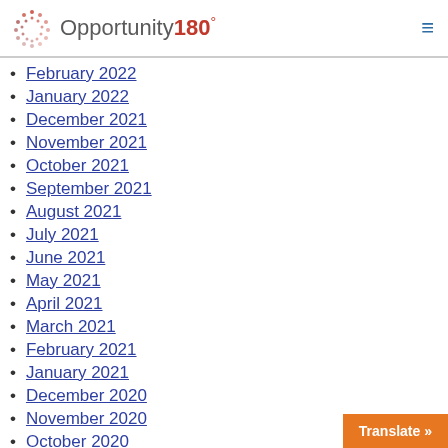Opportunity180°
February 2022
January 2022
December 2021
November 2021
October 2021
September 2021
August 2021
July 2021
June 2021
May 2021
April 2021
March 2021
February 2021
January 2021
December 2020
November 2020
October 2020